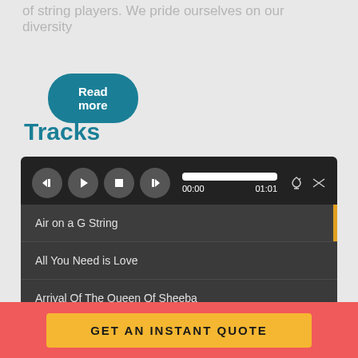of string players. We pride ourselves on our diversity
Read more
Tracks
[Figure (screenshot): Music player widget with transport controls (skip back, play, stop, skip forward), a progress bar showing 00:00 to 01:01, and a track list showing: Air on a G String, All You Need is Love, Arrival Of The Queen Of Sheeba]
GET AN INSTANT QUOTE